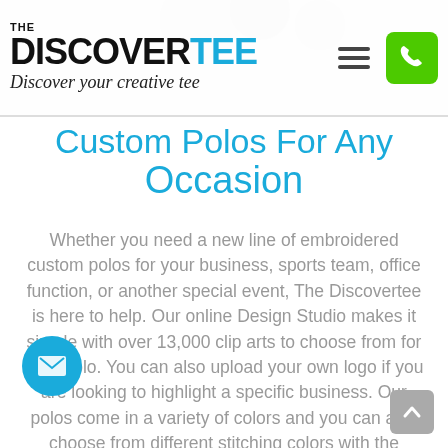[Figure (logo): The Discovertee logo with hamburger menu and phone button]
Custom Polos For Any Occasion
Whether you need a new line of embroidered custom polos for your business, sports team, office function, or another special event, The Discovertee is here to help. Our online Design Studio makes it simple with over 13,000 clip arts to choose from for your polo. You can also upload your own logo if you are looking to highlight a specific business. Our polos come in a variety of colors and you can also choose from different stitching colors with the embroidery